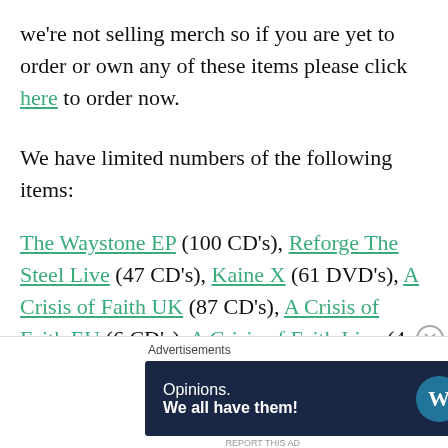we're not selling merch so if you are yet to order or own any of these items please click here to order now.
We have limited numbers of the following items:
The Waystone EP (100 CD's), Reforge The Steel Live (47 CD's), Kaine X (61 DVD's), A Crisis of Faith UK (87 CD's), A Crisis of Faith EU (6 CD's), A Crisis of Faith Live (4 CD's), The Waystone Album (4 CD's), A Crisis of Faith T-Shirt (7 left), Kaine X T-Shirt (5 left) and The Waystone Patch
[Figure (screenshot): Advertisement banner: dark navy background with text 'Opinions. We all have them!' and WordPress and another logo on the right.]